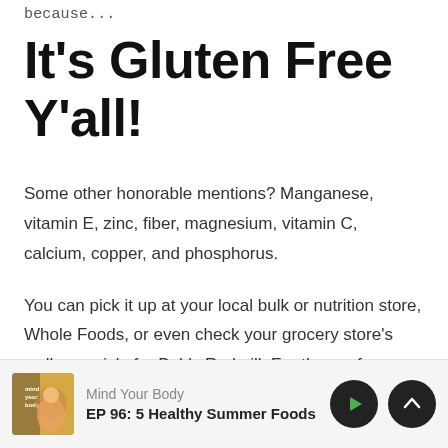because...
It's Gluten Free Y'all!
Some other honorable mentions? Manganese, vitamin E, zinc, fiber, magnesium, vitamin C, calcium, copper, and phosphorus.
You can pick it up at your local bulk or nutrition store, Whole Foods, or even check your grocery store's wellness aisle for Bob's Redmill. For those of
Mind Your Body | EP 96: 5 Healthy Summer Foods